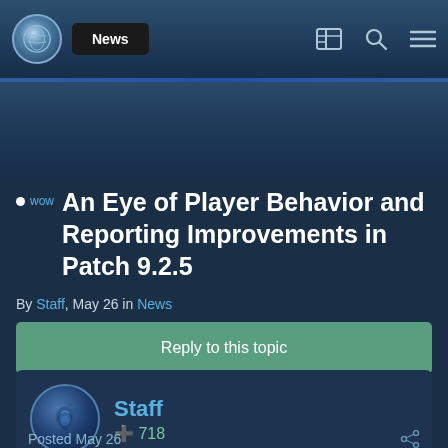News
An Eye of Player Behavior and Reporting Improvements in Patch 9.2.5
By Staff, May 26 in News
Reply to this topic
Staff  +718
Posted May 26
[Figure (screenshot): World of Warcraft game character screenshot showing a druid or beast-like character with antlers against a green-lit forest background]